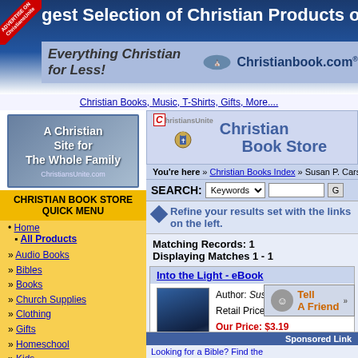gest Selection of Christian Products on the Web
Everything Christian for Less! Christianbook.com
Christian Books, Music, T-Shirts, Gifts, More....
[Figure (screenshot): ChristiansUnite.com site logo: A Christian Site for The Whole Family]
CHRISTIAN BOOK STORE QUICK MENU
• Home
• All Products
» Audio Books
» Bibles
» Books
» Church Supplies
» Clothing
» Gifts
» Homeschool
» Kids
» Music
» Software
» Spanish Products
» Video / DVD
Special Searches
[Figure (logo): ChristiansUnite Christian Book Store header logo]
You're here » Christian Books Index » Susan P. Carswell
SEARCH: Keywords [input] [Go]
Refine your results set with the links on the left.
Matching Records: 1
Displaying Matches 1 - 1
Into the Light - eBook
Author: Susan P. Carswell
Retail Price: $3.99
Our Price: $3.19
Save: 0.80 (20.05%)
Availability: In Stock
» More information...
Tell A Friend
Sponsored Link
Looking for a Bible? Find the